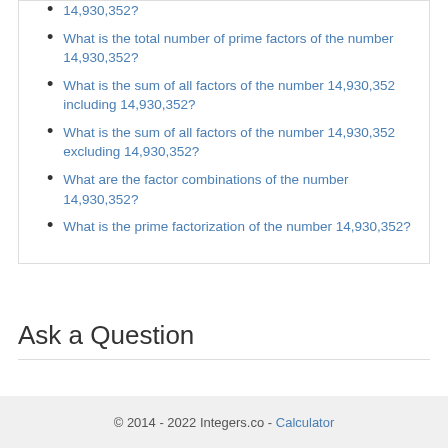14,930,352?
What is the total number of prime factors of the number 14,930,352?
What is the sum of all factors of the number 14,930,352 including 14,930,352?
What is the sum of all factors of the number 14,930,352 excluding 14,930,352?
What are the factor combinations of the number 14,930,352?
What is the prime factorization of the number 14,930,352?
Ask a Question
© 2014 - 2022 Integers.co - Calculator